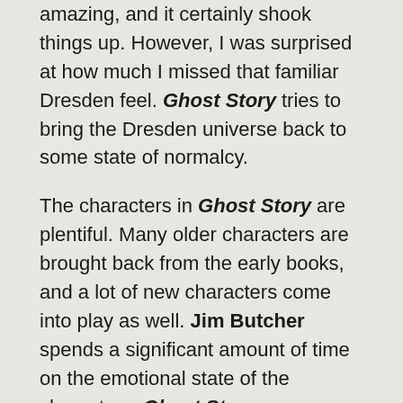amazing, and it certainly shook things up. However, I was surprised at how much I missed that familiar Dresden feel. Ghost Story tries to bring the Dresden universe back to some state of normalcy.
The characters in Ghost Story are plentiful. Many older characters are brought back from the early books, and a lot of new characters come into play as well. Jim Butcher spends a significant amount of time on the emotional state of the characters. Ghost Story emphasizes the mental and physical trauma that is weighing on them all. There were moments where I felt real empathy for many of them. I love these characters and it is painful to see them changed in irreparable ways. Dresden, in particular, wrestles with some rather big issues carried over from previous novels.
The writing in Ghost Story is solid. Jim continues to